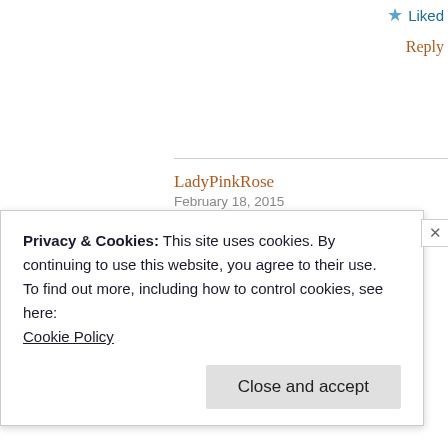★ Liked
Reply
LadyPinkRose
February 18, 2015
[Figure (photo): Avatar photo of a blonde woman]
Privacy & Cookies: This site uses cookies. By continuing to use this website, you agree to their use.
To find out more, including how to control cookies, see here:
Cookie Policy
Close and accept